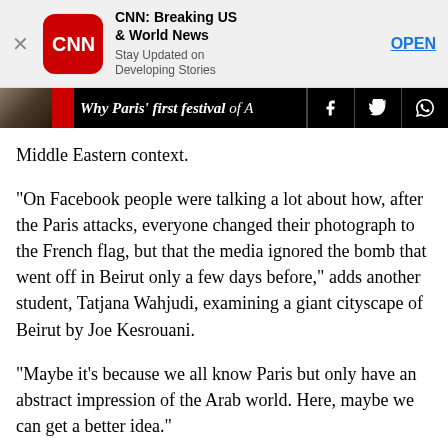[Figure (screenshot): CNN app advertisement banner with CNN logo, title 'CNN: Breaking US & World News', subtitle 'Stay Updated on Developing Stories', and OPEN button]
[Figure (screenshot): Mobile website navigation bar with article thumbnail, red box, article title 'Why Paris' first festival of A...' truncated, and social share icons for Facebook, Twitter, and WhatsApp]
Middle Eastern context.
"On Facebook people were talking a lot about how, after the Paris attacks, everyone changed their photograph to the French flag, but that the media ignored the bomb that went off in Beirut only a few days before," adds another student, Tatjana Wahjudi, examining a giant cityscape of Beirut by Joe Kesrouani.
"Maybe it's because we all know Paris but only have an abstract impression of the Arab world. Here, maybe we can get a better idea."